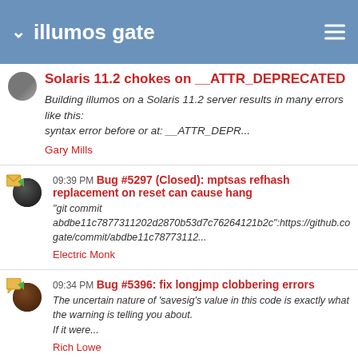illumos gate
Solaris 11.2 chokes on __ATTR_DEPRECATED
Building illumos on a Solaris 11.2 server results in many errors like this: syntax error before or at: __ATTR_DEPR...
Gary Mills
09:39 PM Bug #5297 (Closed): mptsas refhash replacement on reset can cause hang
"git commit abdbe11c7877311202d2870b53d7c76264121b2c":https://github.co gate/commit/abdbe11c78773112...
Electric Monk
09:34 PM Bug #5396: fix longjmp clobbering errors
The uncertain nature of 'savesig's value in this code is exactly what the warning is telling you about. If it were...
Rich Lowe